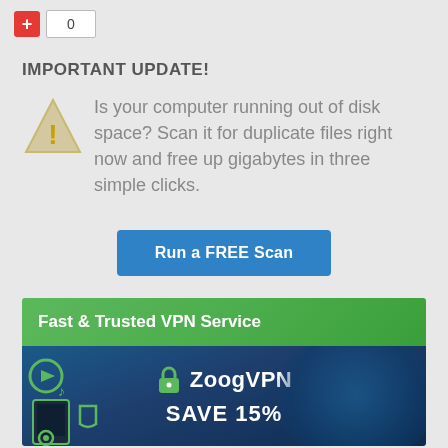[Figure (screenshot): Red plus button with count box showing 0]
IMPORTANT UPDATE!
Is your computer running out of disk space? Scan it for duplicate files right now and free up gigabytes in three simple clicks.
[Figure (infographic): Blue button labeled 'Run a FREE Scan']
[Figure (infographic): ZoogVPN advertisement banner: Fast & Trusted VPN Service. ZoogVPN. SAVE 15%]